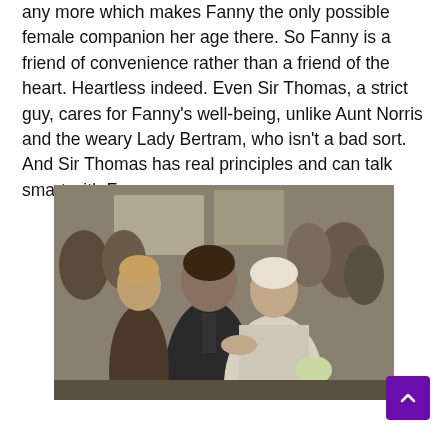any more which makes Fanny the only possible female companion her age there. So Fanny is a friend of convenience rather than a friend of the heart. Heartless indeed. Even Sir Thomas, a strict guy, cares for Fanny's well-being, unlike Aunt Norris and the weary Lady Bertram, who isn't a bad sort. And Sir Thomas has real principles and can talk smart with Fanny.
[Figure (photo): A period drama scene showing a wedding ceremony with a man and woman in historical costume, surrounded by onlookers, appearing to be a still from a film or TV adaptation of a Jane Austen novel.]